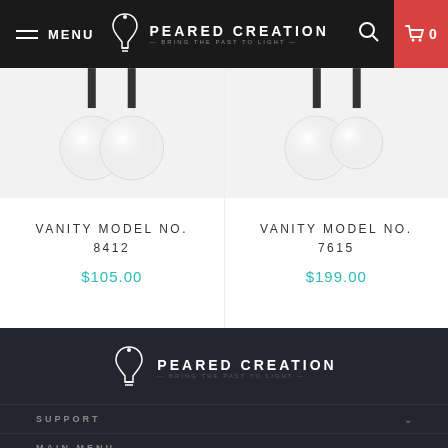MENU | PEARED CREATION — BRING THE PAST TO LIGHT — | 0
[Figure (photo): Vanity light fixture with globe bulbs on white background]
VANITY MODEL NO. 8412
$105.00
[Figure (photo): Vanity light fixture with globe bulbs on white background]
VANITY MODEL NO. 7615
$199.00
[Figure (logo): Peared Creation — Bring the Past to Light — logo in footer]
SUPPORT
MAIN MENU
SIGN UP TO OUR NEWSLETTER